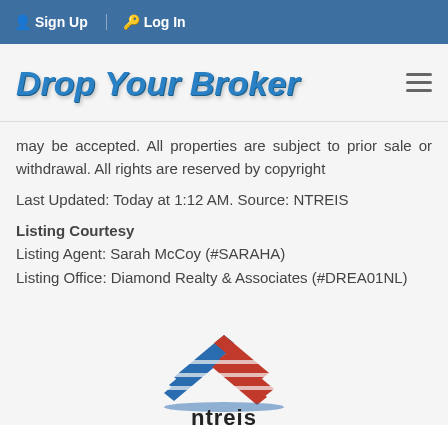Sign Up  Log In
Drop Your Broker
may be accepted. All properties are subject to prior sale or withdrawal. All rights are reserved by copyright
Last Updated: Today at 1:12 AM. Source: NTREIS
Listing Courtesy
Listing Agent: Sarah McCoy (#SARAHA)
Listing Office: Diamond Realty & Associates (#DREA01NL)
[Figure (logo): NTREIS logo with stylized house made of red and blue angular shapes above the text 'ntreis' in dark sans-serif font]